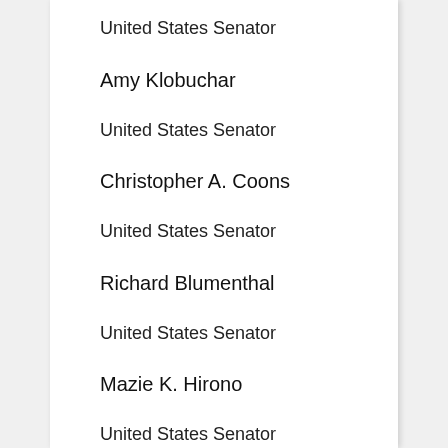United States Senator
Amy Klobuchar
United States Senator
Christopher A. Coons
United States Senator
Richard Blumenthal
United States Senator
Mazie K. Hirono
United States Senator